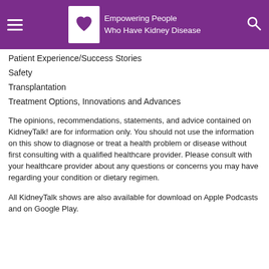Empowering People Who Have Kidney Disease
Patient Experience/Success Stories
Safety
Transplantation
Treatment Options, Innovations and Advances
The opinions, recommendations, statements, and advice contained on KidneyTalk! are for information only. You should not use the information on this show to diagnose or treat a health problem or disease without first consulting with a qualified healthcare provider. Please consult with your healthcare provider about any questions or concerns you may have regarding your condition or dietary regimen.
All KidneyTalk shows are also available for download on Apple Podcasts and on Google Play.